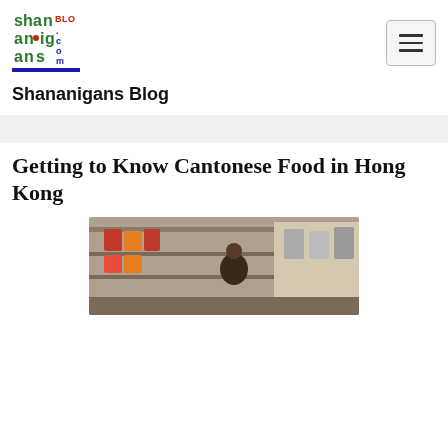[Figure (logo): Shananigans Blog logo — colorful blocky text logo with green, red, blue lettering spelling 'shananigans blog.com']
Shananigans Blog
Getting to Know Cantonese Food in Hong Kong
[Figure (photo): A market or street food stall scene in Hong Kong showing stacked goods/cans with a person partially visible]